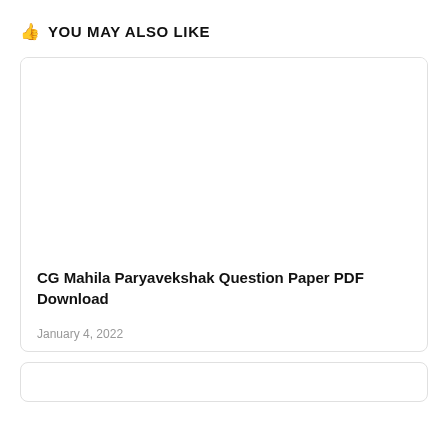YOU MAY ALSO LIKE
[Figure (other): Card with blank white image area for CG Mahila Paryavekshak Question Paper PDF Download]
CG Mahila Paryavekshak Question Paper PDF Download
January 4, 2022